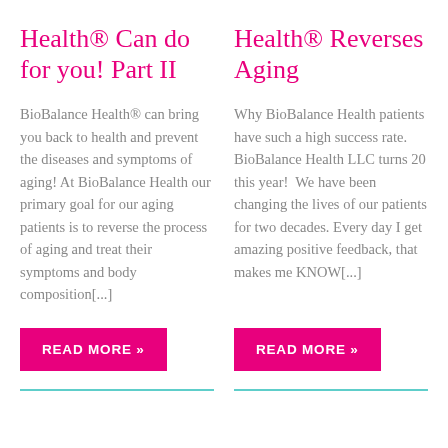Health® Can do for you! Part II
BioBalance Health® can bring you back to health and prevent the diseases and symptoms of aging! At BioBalance Health our primary goal for our aging patients is to reverse the process of aging and treat their symptoms and body composition[...]
Health® Reverses Aging
Why BioBalance Health patients have such a high success rate. BioBalance Health LLC turns 20 this year! We have been changing the lives of our patients for two decades. Every day I get amazing positive feedback, that makes me KNOW[...]